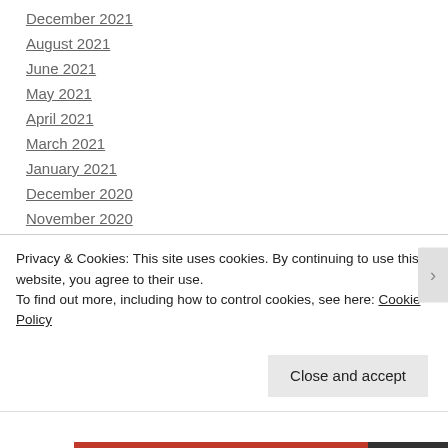December 2021
August 2021
June 2021
May 2021
April 2021
March 2021
January 2021
December 2020
November 2020
October 2020
September 2020
August 2020
June 2020
Privacy & Cookies: This site uses cookies. By continuing to use this website, you agree to their use.
To find out more, including how to control cookies, see here: Cookie Policy
Close and accept